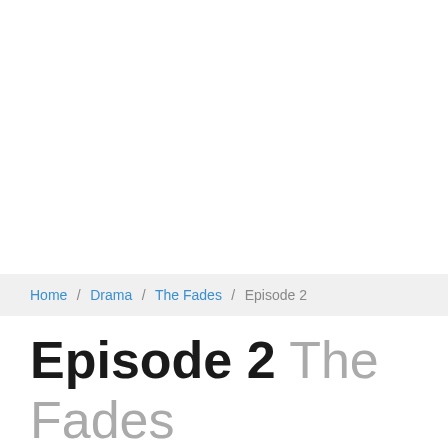Home / Drama / The Fades / Episode 2
Episode 2 The Fades